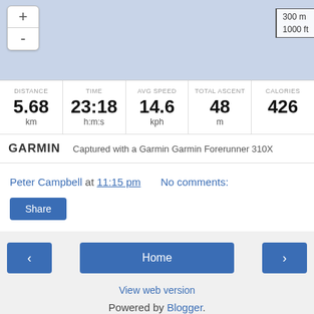[Figure (map): Map view with zoom controls (+/-) and a scale bar showing 300 m / 1000 ft, blue-grey tiles]
| DISTANCE | TIME | AVG SPEED | TOTAL ASCENT | CALORIES |
| --- | --- | --- | --- | --- |
| 5.68 km | 23:18 h:m:s | 14.6 kph | 48 m | 426 |
GARMIN   Captured with a Garmin Garmin Forerunner 310X
Peter Campbell at 11:15 pm   No comments:
Share
‹   Home   ›
View web version
Powered by Blogger.